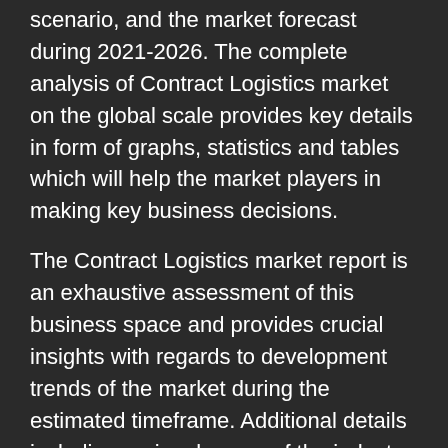scenario, and the market forecast during 2021-2026. The complete analysis of Contract Logistics market on the global scale provides key details in form of graphs, statistics and tables which will help the market players in making key business decisions.
The Contract Logistics market report is an exhaustive assessment of this business space and provides crucial insights with regards to development trends of the market during the estimated timeframe. Additional details including regional scope of the industry and various policies are outlined in the report. Moreover, the report encompasses numerous parameters such as the impact of current market trends on investors.
Details concerning the Contract Logistics market scenario such as advantages and disadvantages of products launched by industry players are mentioned in the report.